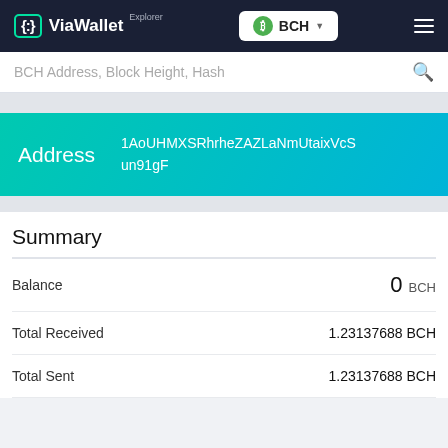ViaWallet Explorer — BCH
BCH Address, Block Height, Hash
Address 1AoUHMXSRhrheZAZLaNmUtaixVcSun91gF
Summary
| Field | Value |
| --- | --- |
| Balance | 0 BCH |
| Total Received | 1.23137688 BCH |
| Total Sent | 1.23137688 BCH |